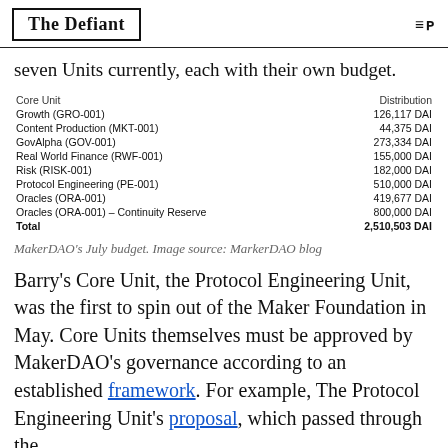The Defiant
seven Units currently, each with their own budget.
| Core Unit | Distribution |
| --- | --- |
| Growth (GRO-001) | 126,117 DAI |
| Content Production (MKT-001) | 44,375 DAI |
| GovAlpha (GOV-001) | 273,334 DAI |
| Real World Finance (RWF-001) | 155,000 DAI |
| Risk (RISK-001) | 182,000 DAI |
| Protocol Engineering (PE-001) | 510,000 DAI |
| Oracles (ORA-001) | 419,677 DAI |
| Oracles (ORA-001) – Continuity Reserve | 800,000 DAI |
| Total | 2,510,503 DAI |
MakerDAO's July budget. Image source: MarkerDAO blog
Barry's Core Unit, the Protocol Engineering Unit, was the first to spin out of the Maker Foundation in May. Core Units themselves must be approved by MakerDAO's governance according to an established framework. For example, The Protocol Engineering Unit's proposal, which passed through the